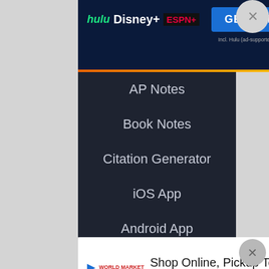[Figure (screenshot): Disney Bundle advertisement banner with Hulu, Disney+, ESPN+ logos and 'GET THE DISNEY BUNDLE' button. Includes fine print about ad-supported or no-ads Hulu and ©2021 Disney.]
AP Notes
Book Notes
Citation Generator
iOS App
Android App
ABOUT
Company
Advertise
Jobs HIRING
Blog
[Figure (screenshot): World Market advertisement: 'Shop Online, Pickup Today' with World Market branding and blue diamond arrow icon.]
Site Map